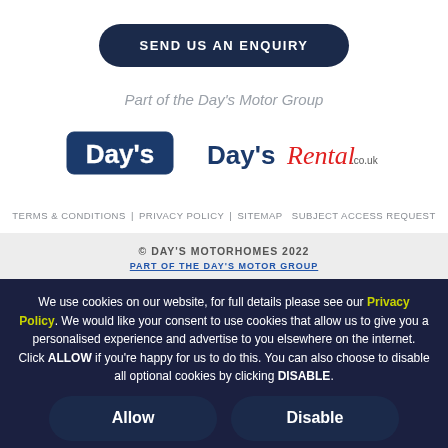SEND US AN ENQUIRY
Part of the Day's Motor Group
[Figure (logo): Day's logo - blue text with white outline on dark blue background]
[Figure (logo): Day's Rental .co.uk logo - blue and red text]
TERMS & CONDITIONS | PRIVACY POLICY | SITEMAP  SUBJECT ACCESS REQUEST
© DAY'S MOTORHOMES 2022
PART OF THE DAY'S MOTOR GROUP
We use cookies on our website, for full details please see our Privacy Policy. We would like your consent to use cookies that allow us to give you a personalised experience and advertise to you elsewhere on the internet. Click ALLOW if you're happy for us to do this. You can also choose to disable all optional cookies by clicking DISABLE.
Allow
Disable